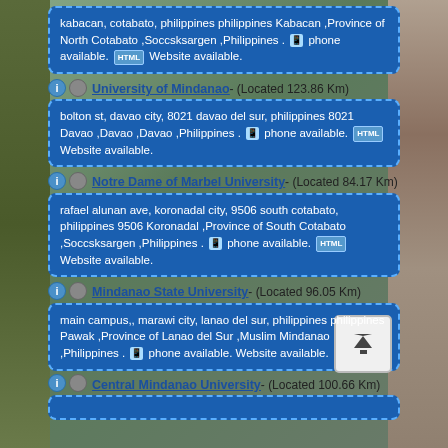kabacan, cotabato, philippines philippines Kabacan ,Province of North Cotabato ,Soccsksargen ,Philippines . phone available. Website available.
University of Mindanao- (Located 123.86 Km)
bolton st, davao city, 8021 davao del sur, philippines 8021 Davao ,Davao ,Davao ,Philippines . phone available. Website available.
Notre Dame of Marbel University- (Located 84.17 Km)
rafael alunan ave, koronadal city, 9506 south cotabato, philippines 9506 Koronadal ,Province of South Cotabato ,Soccsksargen ,Philippines . phone available. Website available.
Mindanao State University- (Located 96.05 Km)
main campus,, marawi city, lanao del sur, philippines philippines Pawak ,Province of Lanao del Sur ,Muslim Mindanao ,Philippines . phone available. Website available.
Central Mindanao University- (Located 100.66 Km)